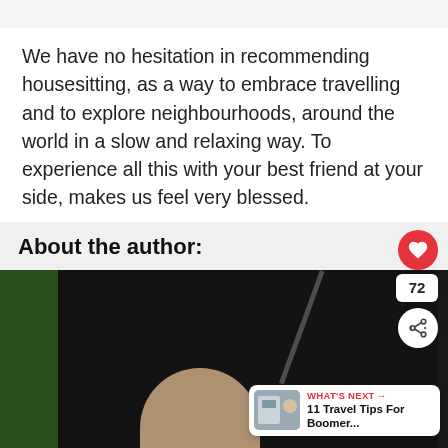We have no hesitation in recommending housesitting, as a way to embrace travelling and to explore neighbourhoods, around the world in a slow and relaxing way. To experience all this with your best friend at your side, makes us feel very blessed.
About the author:
[Figure (photo): Photo of a person's head/face partially visible, dark background with a green element on the left side and a diagonal line suggesting a rod or stick. Overlay widgets include a heart button (72 likes), share button, and a 'What's Next' promotion card for '11 Travel Tips For Boomer...']